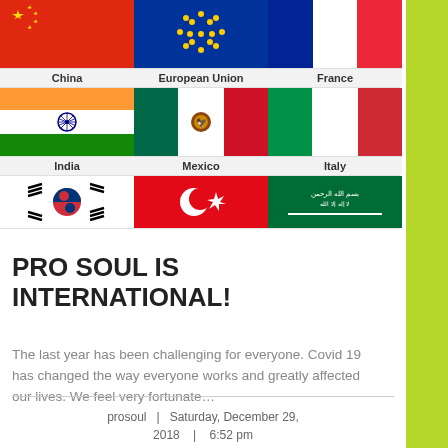[Figure (photo): Grid of international flags with country labels: China, European Union, France (row 1); India, Mexico, Italy (row 2); Korea, Turkey, Saudi Arabia (row 3, partial)]
PRO SOUL IS INTERNATIONAL!
The last year has been challenging for everyone. Covid 19 has changed the way everyone works and greatly affected our lives. We feel very fortunate…
prosoul  |  Saturday, December 29, 2018  |  6:52 pm